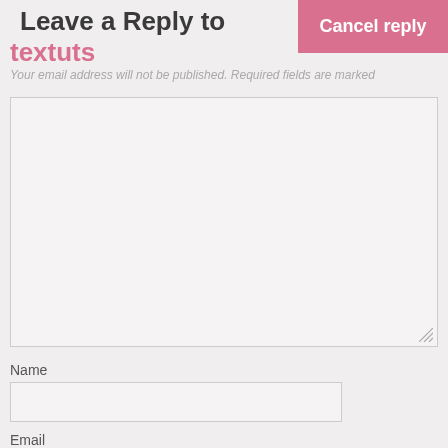Leave a Reply to textuts
Cancel reply
Your email address will not be published. Required fields are marked
Name
Email